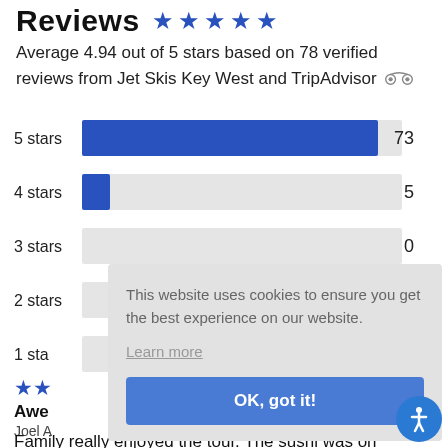Reviews ★★★★★
Average 4.94 out of 5 stars based on 78 verified reviews from Jet Skis Key West and TripAdvisor
[Figure (bar-chart): Star rating distribution]
★★ Awesome Joel A. Family really enjoyed the tour. The sushi was on
This website uses cookies to ensure you get the best experience on our website. Learn more OK, got it!